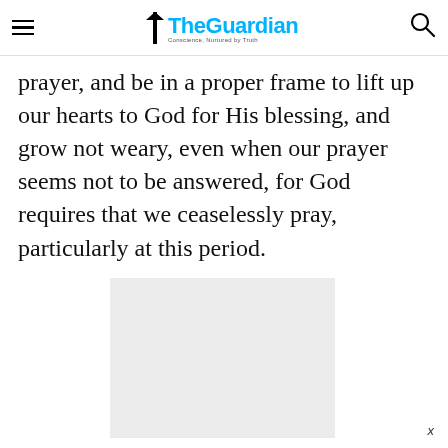The Guardian
prayer, and be in a proper frame to lift up our hearts to God for His blessing, and grow not weary, even when our prayer seems not to be answered, for God requires that we ceaselessly pray, particularly at this period.
[Figure (other): Advertisement placeholder - light grey rectangle]